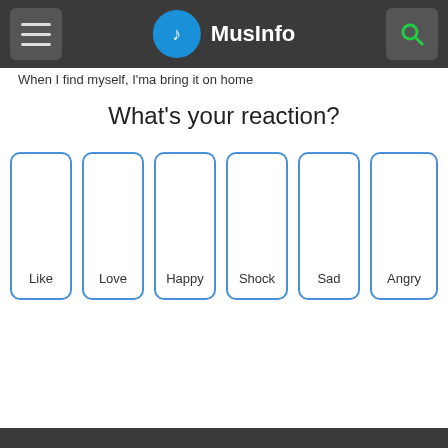MusInfo
When I find myself, I'ma bring it on home
What's your reaction?
Like
Love
Happy
Shock
Sad
Angry